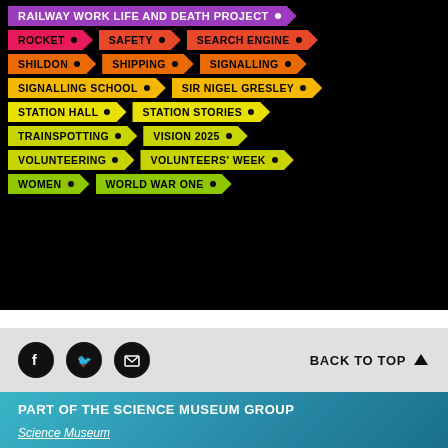[Figure (infographic): Black background tag cloud with arrow-shaped colored tags showing topic keywords: RAILWAY WORK LIFE AND DEATH PROJECT (purple), ROCKET (pink), SAFETY (orange-red), SEARCH ENGINE (orange-red), SHILDON (orange), SHIPPING (orange), SIGNALLING (orange), SIGNALLING SCHOOL (amber), SIR NIGEL GRESLEY (amber), STATION HALL (yellow), STATION STORIES (yellow), TRAINSPOTTING (yellow-green), VISION 2025 (yellow-green), VOLUNTEERING (yellow-green), VOLUNTEERS' WEEK (yellow-green), WOMEN (green), WORLD WAR ONE (green)]
BACK TO TOP
PART OF THE SCIENCE MUSEUM GROUP
Science Museum